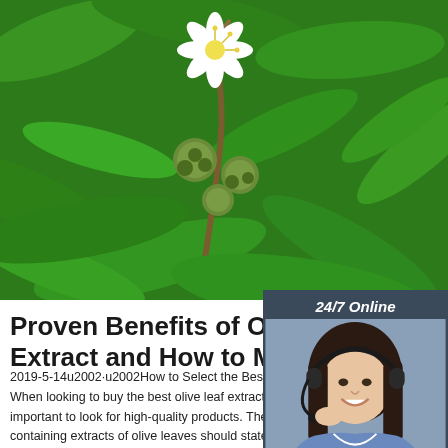[Figure (photo): Close-up photograph of white citrus/olive flower buds with green leaves in background]
[Figure (infographic): 24/7 Online chat widget with dark blue background, showing a woman with headset, 'Click here for free chat!' text, and orange QUOTATION button]
Proven Benefits of Olive Leaf Extract and How to Make ...
2019-5-14u2002·u2002How to Select the Best Olive Leaf Extract. When looking to buy the best olive leaf extract supplement, it is important to look for high-quality products. The best supplements containing extracts of olive leaves should state the amount of oleuropein in each capsule. Some
[Figure (logo): TOP logo with orange dots and text]